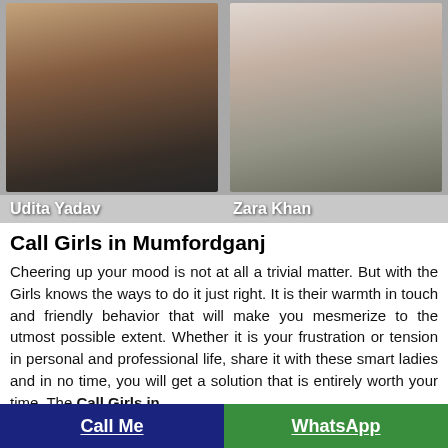[Figure (photo): Two photos side by side: left shows a woman named Udita Yadav in a black outfit; right shows a woman named Zara Khan in a light-colored outfit.]
Udita Yadav
Zara Khan
Call Girls in Mumfordganj
Cheering up your mood is not at all a trivial matter. But with the Girls knows the ways to do it just right. It is their warmth in touch and friendly behavior that will make you mesmerize to the utmost possible extent. Whether it is your frustration or tension in personal and professional life, share it with these smart ladies and in no time, you will get a solution that is entirely worth your time. The Call Girls in
Call Me   WhatsApp